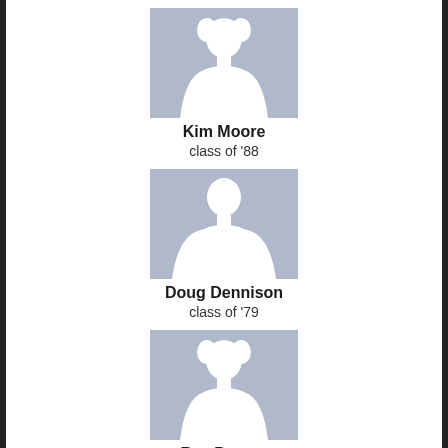[Figure (illustration): Default female silhouette profile picture placeholder with blue-grey background]
Kim Moore
class of '88
[Figure (illustration): Default male silhouette profile picture placeholder with blue-grey background]
Doug Dennison
class of '79
[Figure (illustration): Default female silhouette profile picture placeholder with blue-grey background]
Rea Peyton
class of '08
[Figure (illustration): Partial default silhouette profile picture placeholder with blue-grey background, cropped at bottom of page]